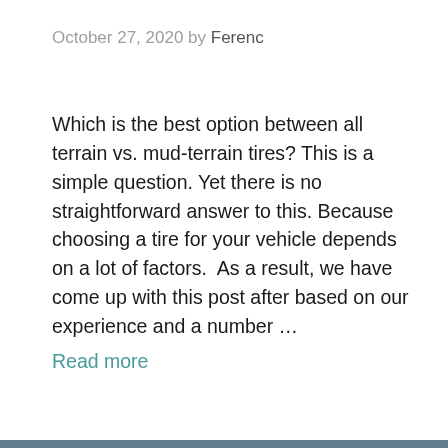October 27, 2020 by Ferenc
Which is the best option between all terrain vs. mud-terrain tires? This is a simple question. Yet there is no straightforward answer to this. Because choosing a tire for your vehicle depends on a lot of factors.  As a result, we have come up with this post after based on our experience and a number … Read more